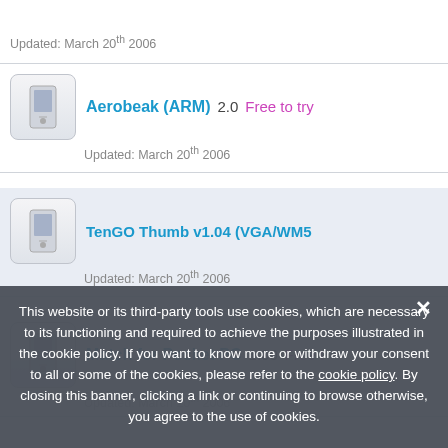Updated: March 20th 2006
Aerobeak (ARM) 2.0 Free to try — Updated: March 20th 2006
TenGO Thumb v1.04 (VGA/WM5 — Updated: March 20th 2006
Match for Pocket PC 1.00 Free t — Updated: March 20th 2006
This website or its third-party tools use cookies, which are necessary to its functioning and required to achieve the purposes illustrated in the cookie policy. If you want to know more or withdraw your consent to all or some of the cookies, please refer to the cookie policy. By closing this banner, clicking a link or continuing to browse otherwise, you agree to the use of cookies.